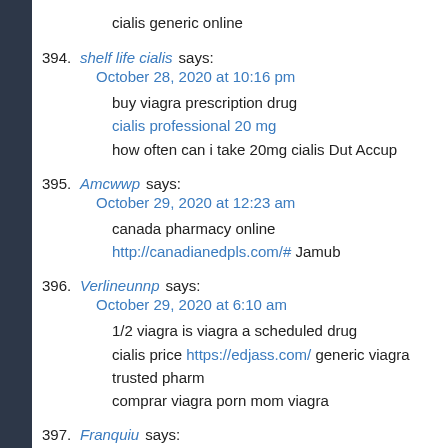cialis generic online
394. shelf life cialis says:
October 28, 2020 at 10:16 pm
buy viagra prescription drug
cialis professional 20 mg
how often can i take 20mg cialis Dut Accup
395. Amcwwp says:
October 29, 2020 at 12:23 am
canada pharmacy online http://canadianedpls.com/# Jamub
396. Verlineunnp says:
October 29, 2020 at 6:10 am
1/2 viagra is viagra a scheduled drug
cialis price https://edjass.com/ generic viagra trusted pharm
comprar viagra porn mom viagra
397. Franquiu says: